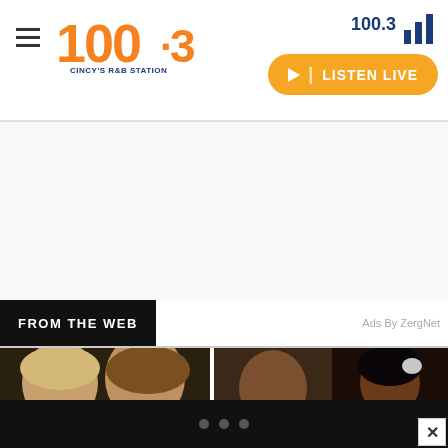100.3 | LISTEN LIVE
[Figure (screenshot): White advertisement/banner area]
FROM THE WEB
Ads By ZergNet
[Figure (photo): Two women posing together — one blonde, one brunette with wavy hair, both in dark attire]
[Figure (photo): Man in formal dark suit and bow tie, looking at camera]
[Figure (photo): Woman in bridal-style attire with pearl necklace and floral hair accessory]